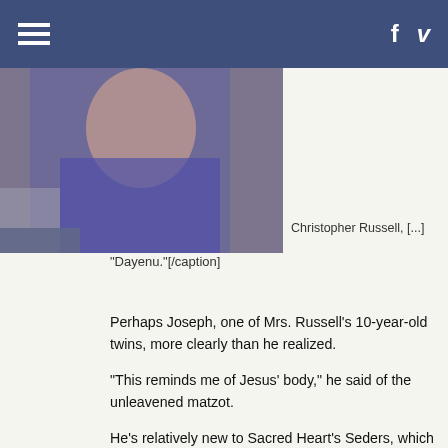Navigation bar with hamburger menu, Facebook and Vimeo icons
[Figure (photo): Photo of a person wearing a purple shirt, hand near face, seated at a table. Partial image cropped at top.]
Christopher Russell, [...]
"Dayenu."[/caption]
Perhaps Joseph, one of Mrs. Russell's 10-year-old twins, more clearly than he realized.
"This reminds me of Jesus' body," he said of the unleavened matzot.
He's relatively new to Sacred Heart's Seders, which go back in the rectory in 1983, when Father Dennis J. Rocheford w...
Mr. Matondi said he got involved the next year, when a few gathered Palm Sunday afternoon over Seder foods.
Eventually the celebration expanded to include a potluck, catered dinner with the Seder ritual, held the night before P...
Even the children get involved, clapping to lively songs an...